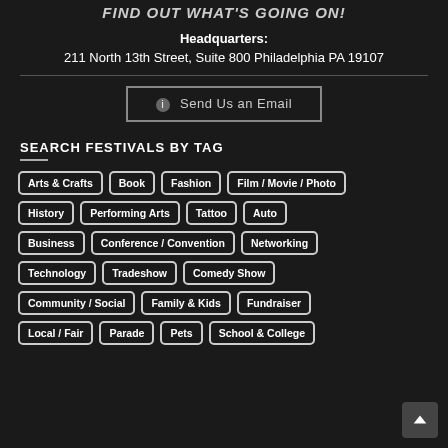FIND OUT WHAT'S GOING ON!
Headquarters: 211 North 13th Street, Suite 800 Philadelphia PA 19107
Send Us an Email
SEARCH FESTIVALS BY TAG
Arts & Crafts
Book
Fashion
Film / Movie / Photo
History
Performing Arts
Tattoo
Auto
Business
Conference / Convention
Networking
Technology
Tradeshow
Comedy Show
Community / Social
Family & Kids
Fundraiser
Local / Fair
Parade
Pets
School & College